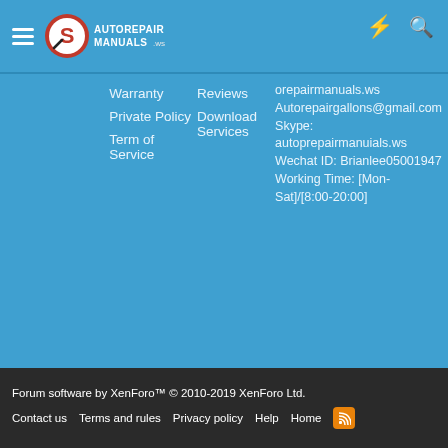AutoRepairManuals.ws
Warranty
Private Policy
Term of Service
Reviews
Download Services
orepairmanuals.ws Autorepairgallons@gmail.com Skype: autoprepairmanuials.ws Wechat ID: Brianlee05001947 Working Time: [Mon-Sat]/[8:00-20:00]
Forum software by XenForo™ © 2010-2019 XenForo Ltd. Contact us Terms and rules Privacy policy Help Home